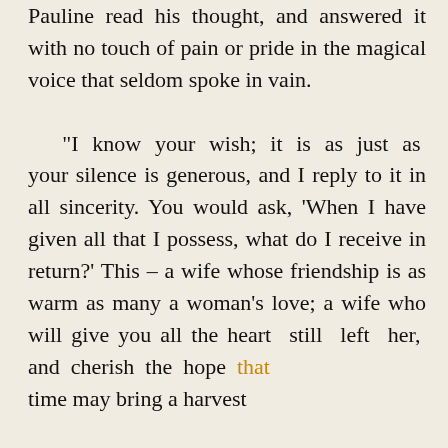Pauline read his thought, and answered it with no touch of pain or pride in the magical voice that seldom spoke in vain.

"I know your wish; it is as just as your silence is generous, and I reply to it in all sincerity. You would ask, 'When I have given all that I possess, what do I receive in return?' This – a wife whose friendship is as warm as many a woman's love; a wife who will give you all the heart still left her, and cherish the hope that time may bring a harvest